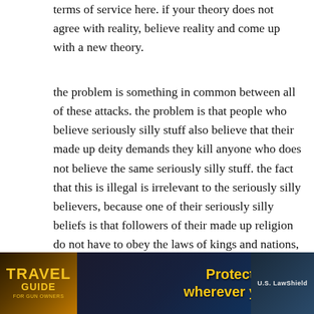terms of service here. if your theory does not agree with reality, believe reality and come up with a new theory.
the problem is something in common between all of these attacks. the problem is that people who believe seriously silly stuff also believe that their made up deity demands they kill anyone who does not believe the same seriously silly stuff. the fact that this is illegal is irrelevant to the seriously silly believers, because one of their seriously silly beliefs is that followers of their made up religion do not have to obey the laws of kings and nations, their seriously silly holy book is the only law they must follow.
calling Bruce Caitlynn does not make him a woman, …plain the …torse with a
[Figure (infographic): Travel Guide for Gun Owners advertisement banner with text 'Protect yourself wherever you go.' and play arrows, and US LawShield logo on right]